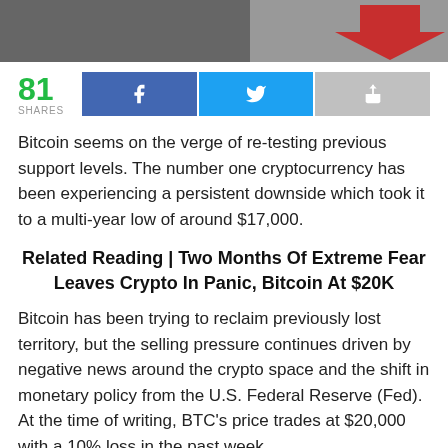[Figure (photo): Partial photo of a person with a red arrow overlay pointing downward]
81 SHARES
Bitcoin seems on the verge of re-testing previous support levels. The number one cryptocurrency has been experiencing a persistent downside which took it to a multi-year low of around $17,000.
Related Reading | Two Months Of Extreme Fear Leaves Crypto In Panic, Bitcoin At $20K
Bitcoin has been trying to reclaim previously lost territory, but the selling pressure continues driven by negative news around the crypto space and the shift in monetary policy from the U.S. Federal Reserve (Fed). At the time of writing, BTC's price trades at $20,000 with a 10% loss in the past week.